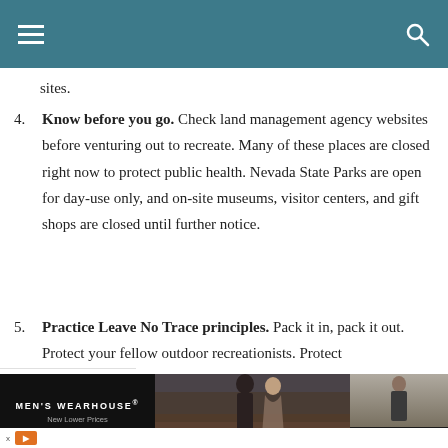Navigation header with hamburger menu and search icon
sites.
4. Know before you go. Check land management agency websites before venturing out to recreate. Many of these places are closed right now to protect public health. Nevada State Parks are open for day-use only, and on-site museums, visitor centers, and gift shops are closed until further notice.
5. Practice Leave No Trace principles. Pack it in, pack it out. Protect your fellow outdoor recreationists. Protect
[Figure (photo): Advertisement banner for Men's Wearhouse showing couple in formal wear and a man in a suit with VIEW button]